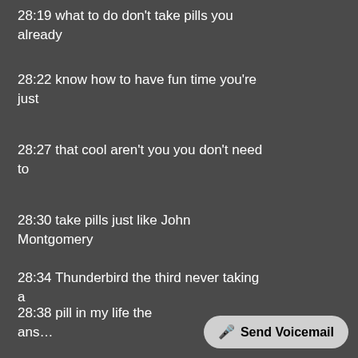28:19 what to do don't take pills you already
28:22 know how to have fun time you're just
28:27 that cool aren't you you don't need to
28:30 take pills just like John Montgomery
28:34 Thunderbird the third never taking a
28:38 pill in my life the ans…